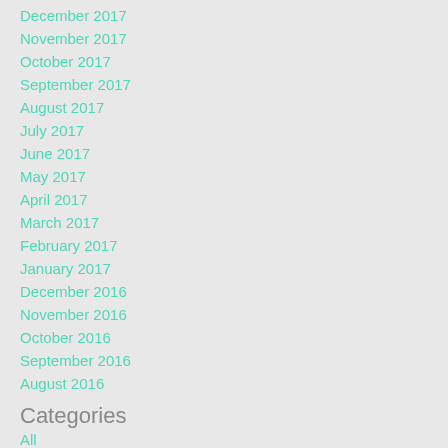December 2017
November 2017
October 2017
September 2017
August 2017
July 2017
June 2017
May 2017
April 2017
March 2017
February 2017
January 2017
December 2016
November 2016
October 2016
September 2016
August 2016
Categories
All